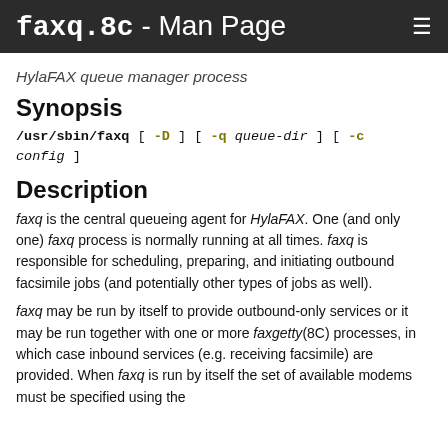faxq.8c - Man Page
HylaFAX queue manager process
Synopsis
/usr/sbin/faxq [ -D ] [ -q queue-dir ] [ -c config ]
Description
faxq is the central queueing agent for HylaFAX. One (and only one) faxq process is normally running at all times. faxq is responsible for scheduling, preparing, and initiating outbound facsimile jobs (and potentially other types of jobs as well).
faxq may be run by itself to provide outbound-only services or it may be run together with one or more faxgetty(8C) processes, in which case inbound services (e.g. receiving facsimile) are provided. When faxq is run by itself the set of available modems must be specified using the